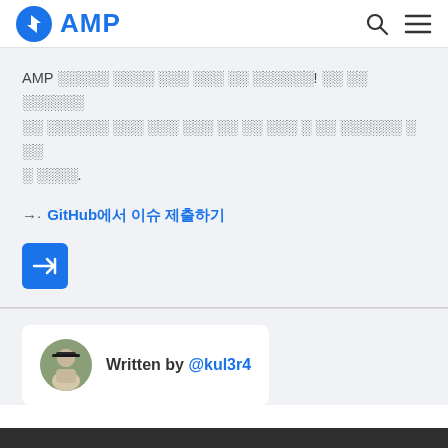AMP
AMP ░░░░░ ░░░░ ░░░ ░░░ ░░ ░░░░░░! ░░ ░░ ░░░░░░ ░░ ░░░░░░ ░░░ ░░░ ░░░ ░░ ░░ ░░░ ░ ░░ ░░░░░░ ░ ░░ ░ ░░░░.
→· GitHub에서 이슈 제출하기
[Figure (other): Blue navigation button with right arrow]
Written by @kul3r4